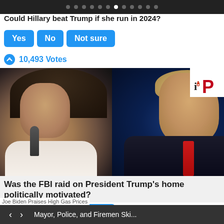Navigation dots bar
Could Hillary beat Trump if she run in 2024?
Yes
No
Not sure
10,493 Votes
[Figure (photo): Side-by-side photos of Kamala Harris (left, holding microphone) and Donald Trump (right, in suit and red tie) with iP logo overlay]
Was the FBI raid on President Trump's home politically motivated?
Yes
No
Not sure
Joe Biden Praises High Gas Prices
Mayor, Police, and Firemen Ski...